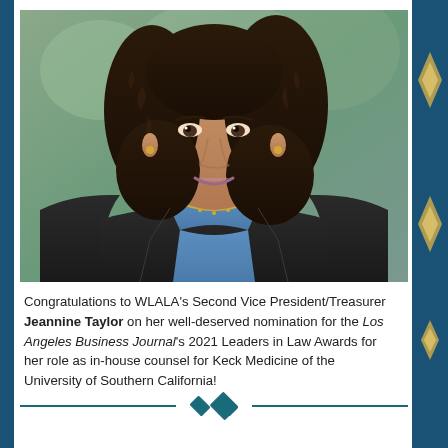[Figure (photo): Professional headshot of Jeannine Taylor, a woman with curly dark hair wearing a black blazer over a blue shirt with a gold necklace, photographed outdoors with a blurred green background]
Congratulations to WLALA's Second Vice President/Treasurer Jeannine Taylor on her well-deserved nomination for the Los Angeles Business Journal's 2021 Leaders in Law Awards for her role as in-house counsel for Keck Medicine of the University of Southern California!